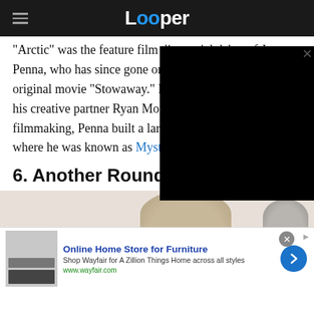Looper
"Arctic" was the feature film directorial debut of Joe Penna, who has since gone on to direct the Netflix original movie "Stowaway." Penna has made films with his creative partner Ryan Morrison. Before turning to filmmaking, Penna built a large audience on YouTube, where he was known as MysteryGuitarMan.
6. Another Round
[Figure (photo): Photo strip showing heads of people, partial view, beige background]
[Figure (other): Advertisement for Wayfair Online Home Store for Furniture with image of furniture and arrow button]